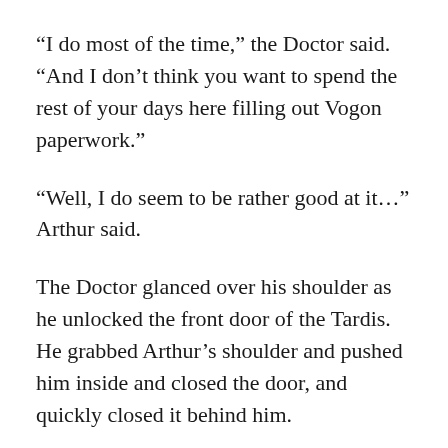“I do most of the time,” the Doctor said. “And I don’t think you want to spend the rest of your days here filling out Vogon paperwork.”
“Well, I do seem to be rather good at it…” Arthur said.
The Doctor glanced over his shoulder as he unlocked the front door of the Tardis. He grabbed Arthur’s shoulder and pushed him inside and closed the door, and quickly closed it behind him.
There were the sounds of weapons fire of some sort against the door.